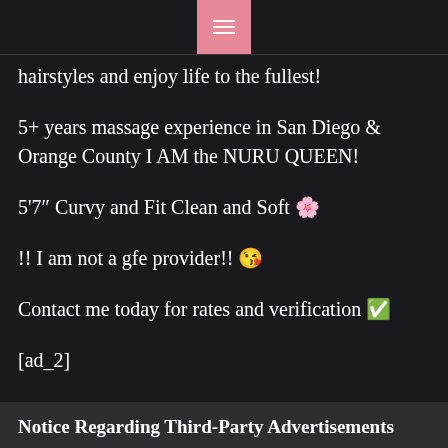[Figure (other): Pink hamburger menu button at top center]
hairstyles and enjoy life to the fullest!
5+ years massage experience in San Diego & Orange County I AM the NURU QUEEN!
5'7″ Curvy and Fit Clean and Soft 🌸
!! I am not a gfe provider!! 😘
Contact me today for rates and verification ✅
[ad_2]
Notice Regarding Third-Party Advertisements